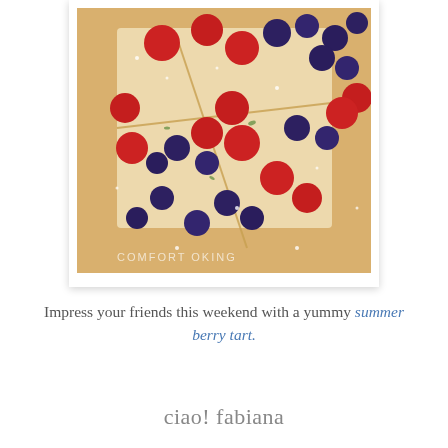[Figure (photo): A berry tart with raspberries and blueberries dusted with powdered sugar, sliced into rectangles on a pastry crust. Watermark reads COMFORT COOKING. Photo is in a white polaroid-style frame.]
Impress your friends this weekend with a yummy summer berry tart.
ciao! fabiana